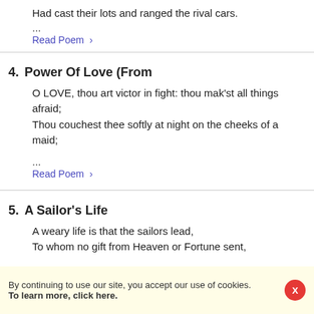Had cast their lots and ranged the rival cars.
...
Read Poem >
4.  Power Of Love (From
O LOVE, thou art victor in fight: thou mak'st all things afraid;
Thou couchest thee softly at night on the cheeks of a maid;
...
Read Poem >
5.  A Sailor's Life
A weary life is that the sailors lead,
To whom no gift from Heaven or Fortune sent,
By continuing to use our site, you accept our use of cookies. To learn more, click here.